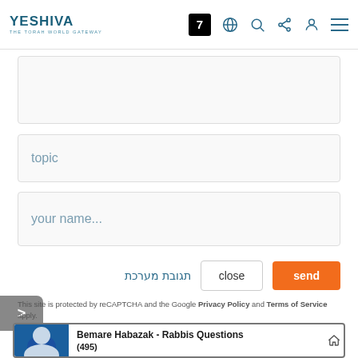YESHIVA — THE TORAH WORLD GATEWAY — nav icons: 7, globe, search, share, person, menu
(textarea input area — blank)
topic
your name...
תגובת מערכת  close  send
>
This site is protected by reCAPTCHA and the Google Privacy Policy and Terms of Service apply.
Bemare Habazak - Rabbis Questions (495)